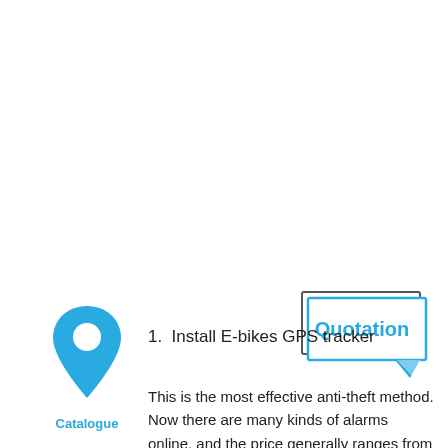[Figure (illustration): Blue location pin / map marker icon with a white circle in the center, with 'Catalogue' label in blue below it]
[Figure (illustration): Speech bubble / quotation box with double border lines and a blue chevron pointer at the bottom right, containing the word 'Quotation' in blue text]
1.  Install E-bikes GPS tracker
This is the most effective anti-theft method. Now there are many kinds of alarms online, and the price generally ranges from 30-60$. Here, we recommend the ET25 Small and Light E-bike GPS Tracker.